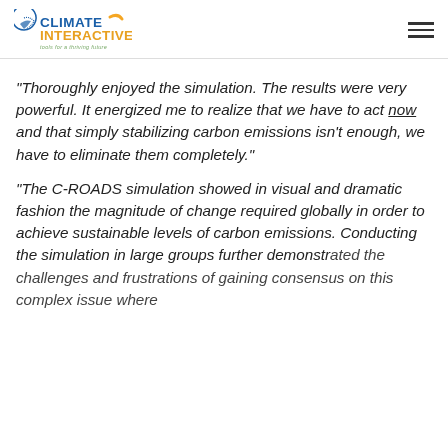Climate Interactive — tools for a thriving future
“Thoroughly enjoyed the simulation. The results were very powerful. It energized me to realize that we have to act now and that simply stabilizing carbon emissions isn’t enough, we have to eliminate them completely.”
“The C-ROADS simulation showed in visual and dramatic fashion the magnitude of change required globally in order to achieve sustainable levels of carbon emissions. Conducting the simulation in large groups further demonstrated the challenges and frustrations of gaining consensus on this complex issue where…